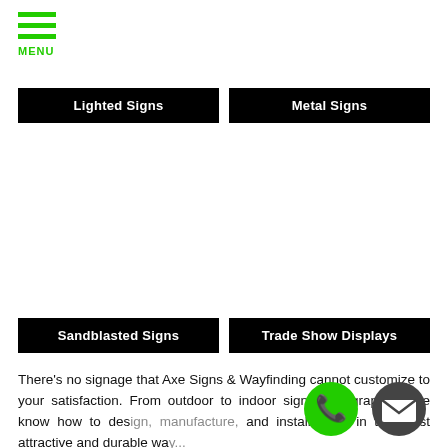MENU
Lighted Signs
Metal Signs
Sandblasted Signs
Trade Show Displays
There's no signage that Axe Signs & Wayfinding cannot customize to your satisfaction. From outdoor to indoor signs and graphics, we know how to design, manufacture, and install them in the most attractive and durable wa...